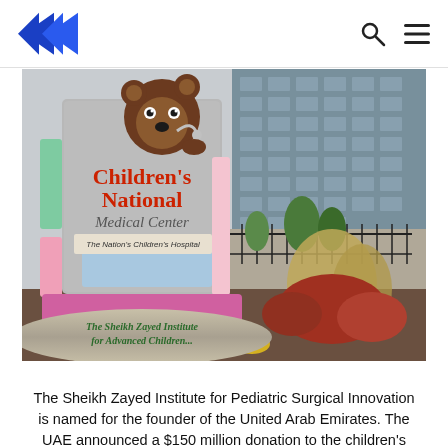Children's National Medical Center news page header with logo and navigation icons
[Figure (photo): Outdoor photo of the Children's National Medical Center sign. The large sign features a cartoon bear logo and reads 'Children's National Medical Center – The Nation's Children's Hospital'. A metallic circular base plaque reads 'The Sheikh Zayed Institute for Advanced Children...' Colorful panels in green, pink, and blue flank the main gray sign. A modern glass office building and landscaping with ornamental grasses and red shrubs are visible in the background.]
The Sheikh Zayed Institute for Pediatric Surgical Innovation is named for the founder of the United Arab Emirates. The UAE announced a $150 million donation to the children's hospital in